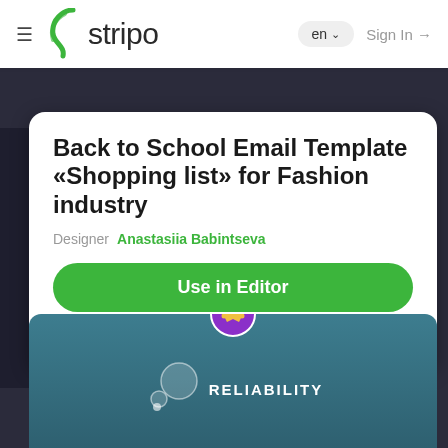≡  stripo   en ∨   Sign In →
Back to School Email Template «Shopping list» for Fashion industry
Designer  Anastasiia Babintseva
Use in Editor
FASHION  KIDS GOODS  MAILCHIMP  UNISENDER  OUTLO…
[Figure (logo): Stripo logo with green leaf icon and dark text 'stripo']
[Figure (illustration): Teal section with purple crown badge icon and Stripo reliability logo with white text 'RELIABILITY']